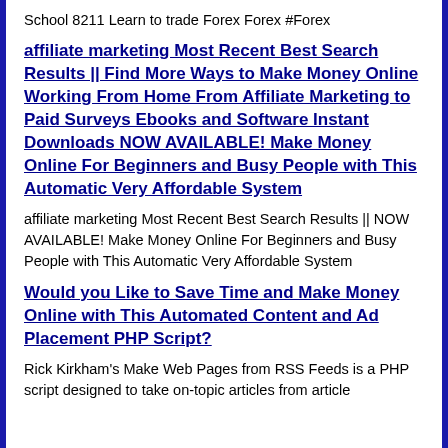School 8211 Learn to trade Forex Forex #Forex
affiliate marketing Most Recent Best Search Results || Find More Ways to Make Money Online Working From Home From Affiliate Marketing to Paid Surveys Ebooks and Software Instant Downloads NOW AVAILABLE! Make Money Online For Beginners and Busy People with This Automatic Very Affordable System
affiliate marketing Most Recent Best Search Results || NOW AVAILABLE! Make Money Online For Beginners and Busy People with This Automatic Very Affordable System
Would you Like to Save Time and Make Money Online with This Automated Content and Ad Placement PHP Script?
Rick Kirkham's Make Web Pages from RSS Feeds is a PHP script designed to take on-topic articles from article